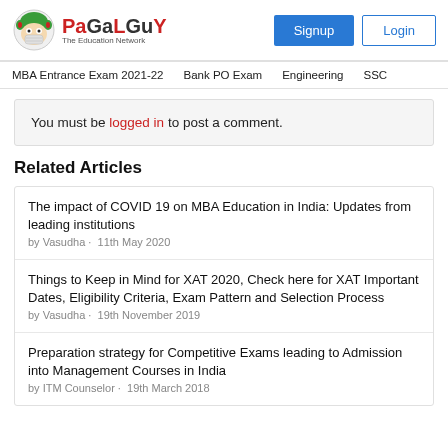PaGaLGuY - The Education Network | Signup | Login
MBA Entrance Exam 2021-22 | Bank PO Exam | Engineering | SSC
You must be logged in to post a comment.
Related Articles
The impact of COVID 19 on MBA Education in India: Updates from leading institutions
by Vasudha · 11th May 2020
Things to Keep in Mind for XAT 2020, Check here for XAT Important Dates, Eligibility Criteria, Exam Pattern and Selection Process
by Vasudha · 19th November 2019
Preparation strategy for Competitive Exams leading to Admission into Management Courses in India
by ITM Counselor · 19th March 2018